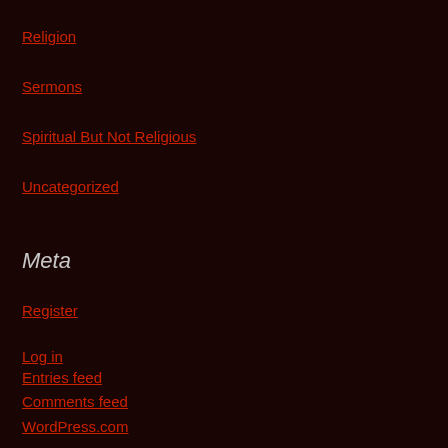Religion
Sermons
Spiritual But Not Religious
Uncategorized
Meta
Register
Log in
Entries feed
Comments feed
WordPress.com